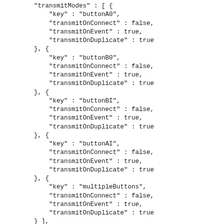JSON code snippet showing transmitModes array with entries for buttonA0, buttonB0, buttonBI, buttonAI, multipleButtons, plus states, operable, supported fields